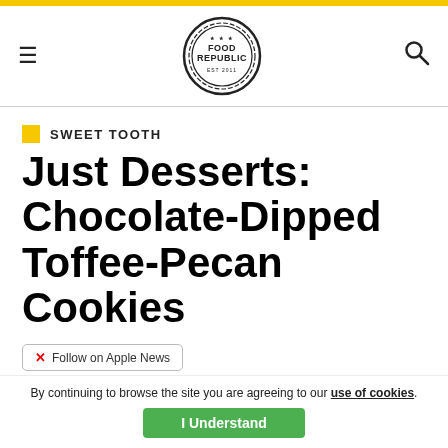Food Republic — SWEET TOOTH
Just Desserts: Chocolate-Dipped Toffee-Pecan Cookies
Follow on Apple News
Tiffany
By continuing to browse the site you are agreeing to our use of cookies. I Understand